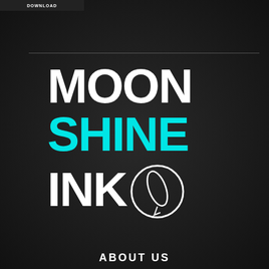[Figure (logo): Moonshine Ink logo with MOON in white, SHINE in cyan, INK in white, and a circular quill pen emblem]
ABOUT US